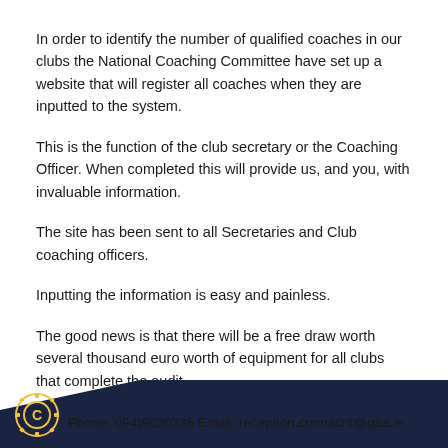In order to identify the number of qualified coaches in our clubs the National Coaching Committee have set up a website that will register all coaches when they are inputted to the system.
This is the function of the club secretary or the Coaching Officer. When completed this will provide us, and you, with invaluable information.
The site has been sent to all Secretaries and Club coaching officers.
Inputting the information is easy and painless.
The good news is that there will be a free draw worth several thousand euro worth of equipment for all clubs that complete the audit.
If you require any assistance contact your County Games Manager or the Provincial office.
Phone: 094)9630335 Email: reception.connacht@gaa.ie